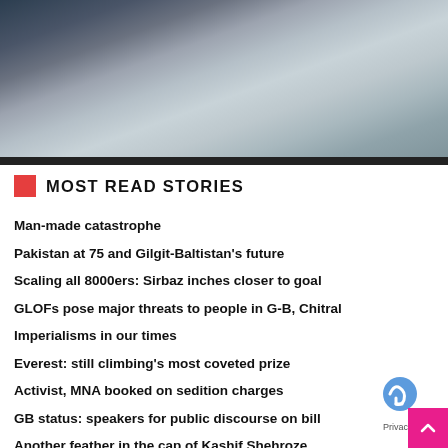[Figure (photo): Aerial/satellite view of a mountainous glacier landscape with snow-covered peaks, rocky terrain, and a pale gray glacial lake or river area.]
MOST READ STORIES
Man-made catastrophe
Pakistan at 75 and Gilgit-Baltistan’s future
Scaling all 8000ers: Sirbaz inches closer to goal
GLOFs pose major threats to people in G-B, Chitral
Imperialisms in our times
Everest: still climbing’s most coveted prize
Activist, MNA booked on sedition charges
GB status: speakers for public discourse on bill
Another feather in the cap of Kashif Shehroze
Three TTP commanders killed in Kabul blast